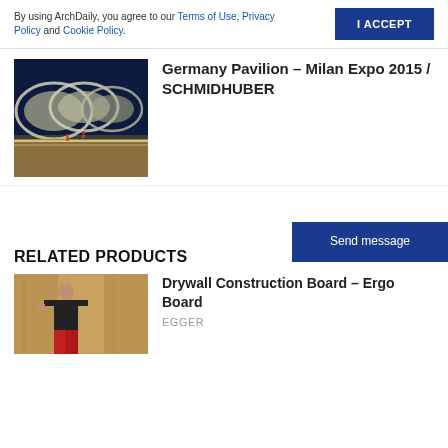By using ArchDaily, you agree to our Terms of Use, Privacy Policy and Cookie Policy.
I ACCEPT
[Figure (photo): Architectural photograph of Germany Pavilion at Milan Expo 2015, showing futuristic curved white shell structures at night with illuminated walkways]
Germany Pavilion – Milan Expo 2015 / SCHMIDHUBER
RELATED PRODUCTS
Send message
[Figure (photo): Worker installing drywall construction boards, showing a person in black shirt handling large wood fiber panels]
Drywall Construction Board – Ergo Board
EGGER